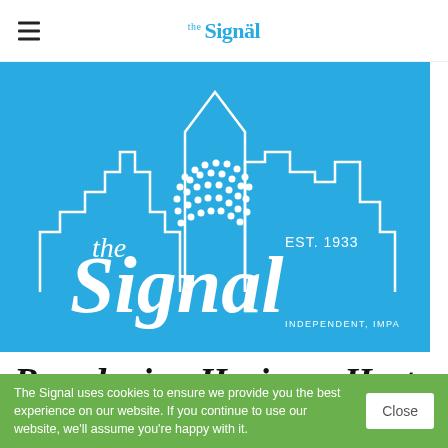the Signal
[Figure (logo): The Signal newspaper logo on a light blue background showing a city skyline silhouette and dotted circular graphic. Text reads: the Signal, EST. 1933, INDEPENDENT, IMPACTFUL & IMPARTIAL]
Broadening Horizons Hosts
The Signal uses cookies to ensure we provide you the best experience on our website. If you continue to use our website, we'll assume you're happy with it.